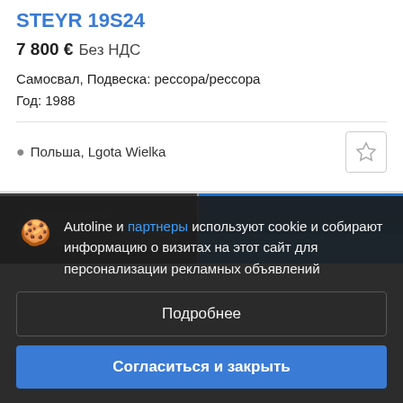STEYR 19S24
7 800 € Без НДС
Самосвал, Подвеска: рессора/рессора
Год: 1988
Польша, Lgota Wielka
[Figure (screenshot): Two vehicle thumbnail images side by side, partially visible, dark background]
Autoline и партнеры используют cookie и собирают информацию о визитах на этот сайт для персонализации рекламных объявлений
Подробнее
Согласиться и закрыть